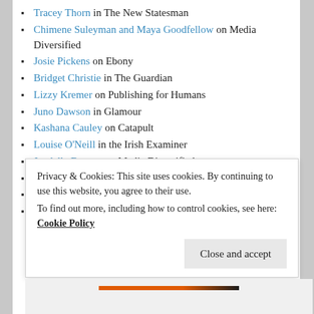Tracey Thorn in The New Statesman
Chimene Suleyman and Maya Goodfellow on Media Diversified
Josie Pickens on Ebony
Bridget Christie in The Guardian
Lizzy Kremer on Publishing for Humans
Juno Dawson in Glamour
Kashana Cauley on Catapult
Louise O'Neill in the Irish Examiner
Jendella Benson on Media Diversified
Lola Okolosie in The Guardian
Sarah Gerard, 'Mouthful' on Hazlitt
Books by Women We'd Love to See in English on Literary Hub
Privacy & Cookies: This site uses cookies. By continuing to use this website, you agree to their use.
To find out more, including how to control cookies, see here: Cookie Policy
Close and accept